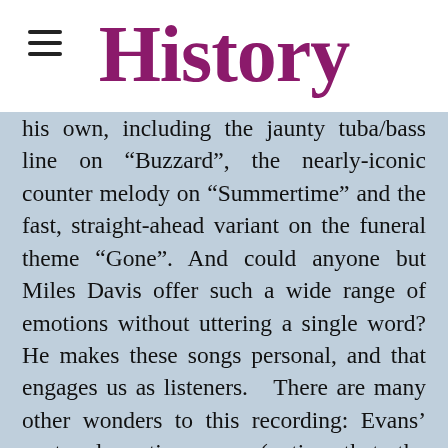History
his own, including the jaunty tuba/bass line on “Buzzard”, the nearly-iconic counter melody on “Summertime” and the fast, straight-ahead variant on the funeral theme “Gone”. And could anyone but Miles Davis offer such a wide range of emotions without uttering a single word? He makes these songs personal, and that engages us as listeners. There are many other wonders to this recording: Evans’ acute dramatic sense (notice that the climax of “My Man’s Gone Now” is only a few bars, but its effect carries on much longer),